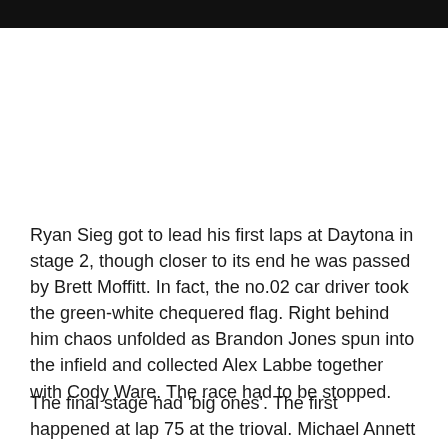[Figure (photo): Black bar at the top of the page]
Ryan Sieg got to lead his first laps at Daytona in stage 2, though closer to its end he was passed by Brett Moffitt. In fact, the no.02 car driver took the green-white chequered flag. Right behind him chaos unfolded as Brandon Jones spun into the infield and collected Alex Labbe together with Cody Ware. The race had to be stopped.
The final stage had 'big ones'. The first happened at lap 75 at the trioval. Michael Annett and Chad